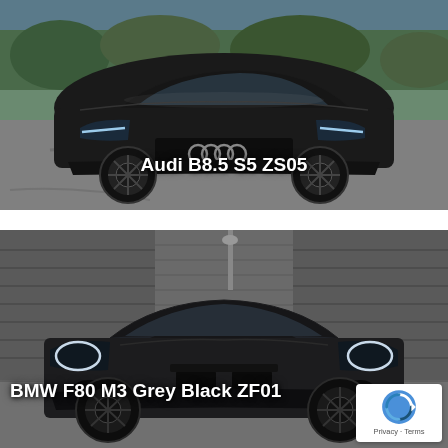[Figure (photo): Front view of a black Audi B8.5 S5 coupe on a parking lot near water, outdoor daylight setting]
Audi B8.5 S5 ZS05
[Figure (photo): Front view of a dark grey/black BMW F80 M3 sedan parked near industrial building with corrugated metal walls, black and white toned photo]
BMW F80 M3 Grey Black ZF01